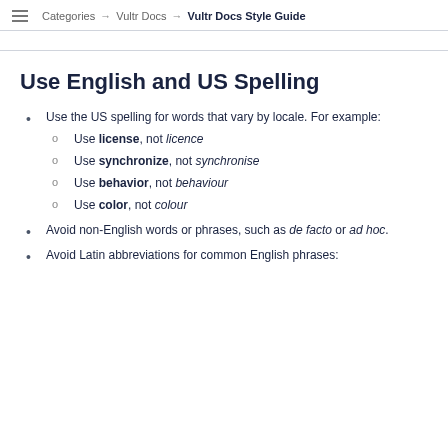Categories → Vultr Docs → Vultr Docs Style Guide
Use English and US Spelling
Use the US spelling for words that vary by locale. For example:
Use license, not licence
Use synchronize, not synchronise
Use behavior, not behaviour
Use color, not colour
Avoid non-English words or phrases, such as de facto or ad hoc.
Avoid Latin abbreviations for common English phrases: